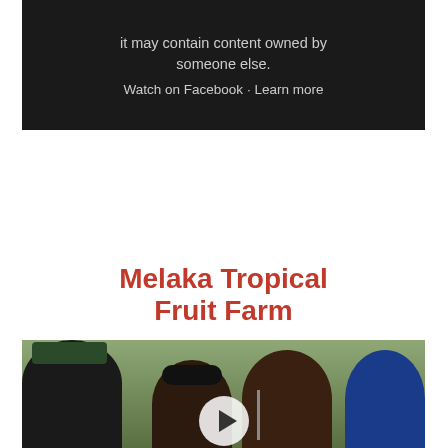[Figure (screenshot): Facebook video blocked screen with dark background showing text: 'it may contain content owned by someone else.' and links 'Watch on Facebook · Learn more']
[Figure (photo): Melaka Tropical Fruit Farm video thumbnail with red text title on white background above a photo of a group of people outdoors with a play button overlay]